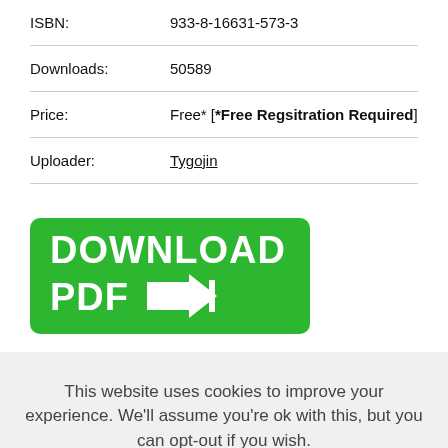| ISBN: | 933-8-16631-573-3 |
| Downloads: | 50589 |
| Price: | Free* [*Free Regsitration Required] |
| Uploader: | Tygojin |
[Figure (other): Green download button with text 'DOWNLOAD PDF' and arrow icon]
This website uses cookies to improve your experience. We'll assume you're ok with this, but you can opt-out if you wish.
Cookie settings | ACCEPT